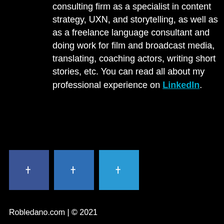consulting firm as a specialist in content strategy, UXN, and storytelling, as well as as a freelance language consultant and doing work for film and broadcast media, translating, coaching actors, writing short stories, etc. You can read all about my professional experience on LinkedIn.
[Figure (other): Three social media icon buttons in blue/teal shades arranged horizontally]
Robledano.com | © 2021